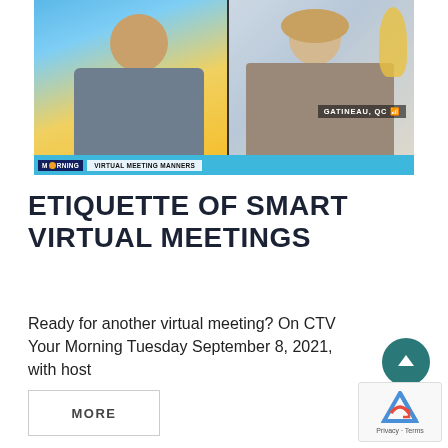[Figure (screenshot): TV screenshot showing a morning show with two people on a split screen. Left side shows a man in a grey suit, right side shows a woman smiling. Bottom bar reads 'MORNING | VIRTUAL MEETING MANNERS' on a teal background. A 'GATINEAU, QC' location label appears on the right panel.]
ETIQUETTE OF SMART VIRTUAL MEETINGS
Ready for another virtual meeting? On CTV Your Morning Tuesday September 8, 2021, with host
[Figure (other): MORE button with rectangular border]